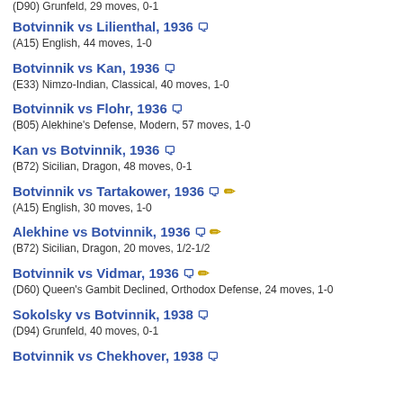(D90) Grunfeld, 29 moves, 0-1
Botvinnik vs Lilienthal, 1936 💬
(A15) English, 44 moves, 1-0
Botvinnik vs Kan, 1936 💬
(E33) Nimzo-Indian, Classical, 40 moves, 1-0
Botvinnik vs Flohr, 1936 💬
(B05) Alekhine's Defense, Modern, 57 moves, 1-0
Kan vs Botvinnik, 1936 💬
(B72) Sicilian, Dragon, 48 moves, 0-1
Botvinnik vs Tartakower, 1936 💬 ✏️
(A15) English, 30 moves, 1-0
Alekhine vs Botvinnik, 1936 💬 ✏️
(B72) Sicilian, Dragon, 20 moves, 1/2-1/2
Botvinnik vs Vidmar, 1936 💬 ✏️
(D60) Queen's Gambit Declined, Orthodox Defense, 24 moves, 1-0
Sokolsky vs Botvinnik, 1938 💬
(D94) Grunfeld, 40 moves, 0-1
Botvinnik vs Chekhover, 1938 💬